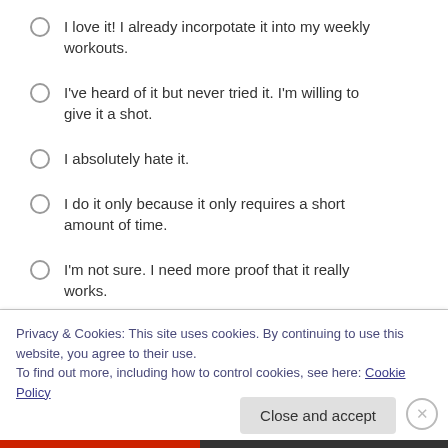I love it! I already incorpotate it into my weekly workouts.
I've heard of it but never tried it. I'm willing to give it a shot.
I absolutely hate it.
I do it only because it only requires a short amount of time.
I'm not sure. I need more proof that it really works.
Privacy & Cookies: This site uses cookies. By continuing to use this website, you agree to their use.
To find out more, including how to control cookies, see here: Cookie Policy